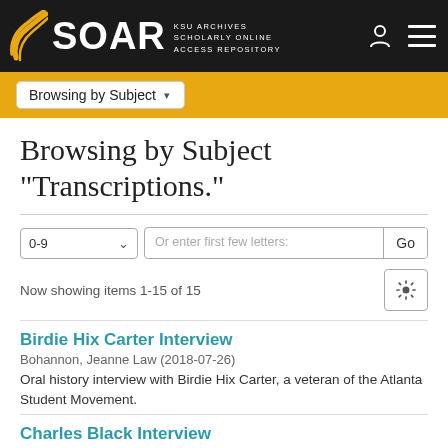[Figure (logo): SOAR - KSU Archives Scholarly Online Access Repository logo on black navigation bar with swoosh graphic, person icon, and hamburger menu icon]
Browsing by Subject ▾
Browsing by Subject "Transcriptions."
Now showing items 1-15 of 15
Birdie Hix Carter Interview
Bohannon, Jeanne Law (2018-07-26)
Oral history interview with Birdie Hix Carter, a veteran of the Atlanta Student Movement.
Charles Black Interview
Bohannon, Jeanne Law (2019-03-06)